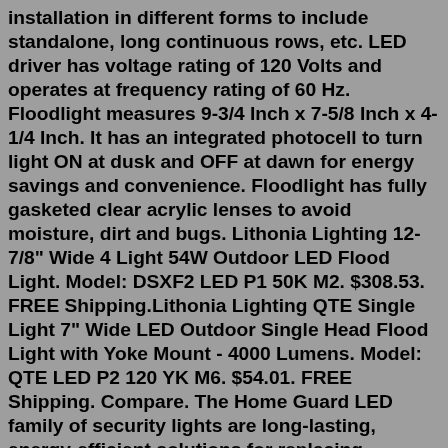installation in different forms to include standalone, long continuous rows, etc. LED driver has voltage rating of 120 Volts and operates at frequency rating of 60 Hz. Floodlight measures 9-3/4 Inch x 7-5/8 Inch x 4-1/4 Inch. It has an integrated photocell to turn light ON at dusk and OFF at dawn for energy savings and convenience. Floodlight has fully gasketed clear acrylic lenses to avoid moisture, dirt and bugs. Lithonia Lighting 12-7/8" Wide 4 Light 54W Outdoor LED Flood Light. Model: DSXF2 LED P1 50K M2. $308.53. FREE Shipping.Lithonia Lighting QTE Single Light 7" Wide LED Outdoor Single Head Flood Light with Yoke Mount - 4000 Lumens. Model: QTE LED P2 120 YK M6. $54.01. FREE Shipping. Compare. The Home Guard LED family of security lights are long-lasting, energy-efficient solutions for replacing incandescent PAR lamp fixtures. Mounted on the wall or under the eaves, these luminaires provide reliable safety and security lighting in residential applications. Home Guard LED security lights are available with the right feature sets for